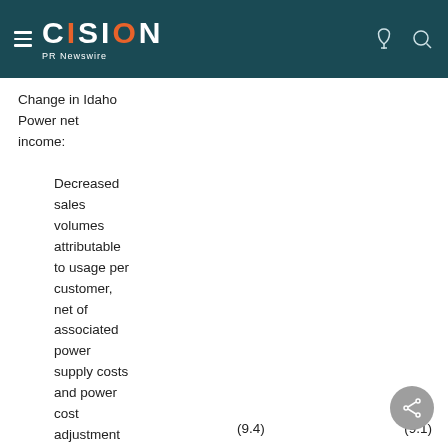CISION PR Newswire
Change in Idaho Power net income:
Decreased sales volumes attributable to usage per customer, net of associated power supply costs and power cost adjustment (PCA) mechanism impacts
|  | Value1 | Value2 |
| --- | --- | --- |
| impacts | (9.4) | (9.1) |